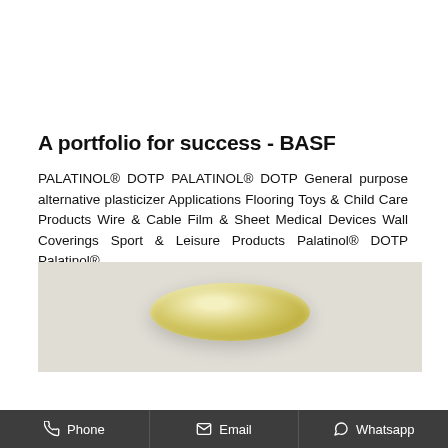A portfolio for success - BASF
PALATINOL® DOTP PALATINOL® DOTP General purpose alternative plasticizer Applications Flooring Toys & Child Care Products Wire & Cable Film & Sheet Medical Devices Wall Coverings Sport & Leisure Products Palatinol® DOTP Palatinol®
Get Inquiry
[Figure (photo): A yellowish-green translucent disc or pellet photographed on a light grey background]
Phone  Email  Whatsapp